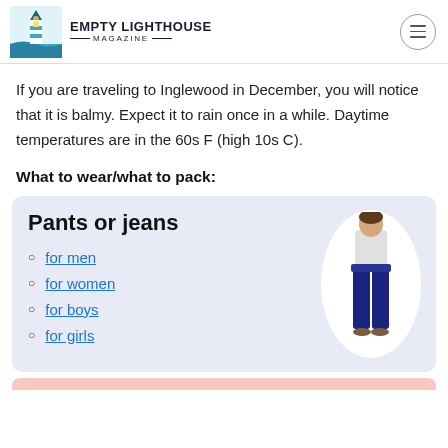EMPTY LIGHTHOUSE MAGAZINE
If you are traveling to Inglewood in December, you will notice that it is balmy. Expect it to rain once in a while. Daytime temperatures are in the 60s F (high 10s C).
What to wear/what to pack:
[Figure (infographic): Card with title 'Pants or jeans' and four links: for men, for women, for boys, for girls. Right side shows a person wearing jeans in an oval white background.]